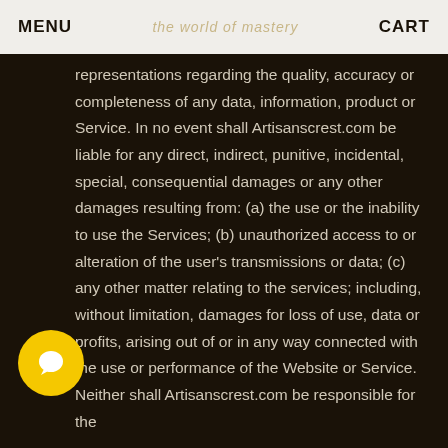MENU | [logo] | CART
representations regarding the quality, accuracy or completeness of any data, information, product or Service. In no event shall Artisanscrest.com be liable for any direct, indirect, punitive, incidental, special, consequential damages or any other damages resulting from: (a) the use or the inability to use the Services; (b) unauthorized access to or alteration of the user's transmissions or data; (c) any other matter relating to the services; including, without limitation, damages for loss of use, data or profits, arising out of or in any way connected with the use or performance of the Website or Service. Neither shall Artisanscrest.com be responsible for the